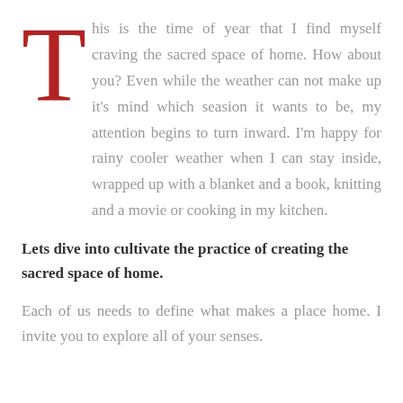This is the time of year that I find myself craving the sacred space of home. How about you? Even while the weather can not make up it's mind which seasion it wants to be, my attention begins to turn inward. I'm happy for rainy cooler weather when I can stay inside, wrapped up with a blanket and a book, knitting and a movie or cooking in my kitchen.
Lets dive into cultivate the practice of creating the sacred space of home.
Each of us needs to define what makes a place home. I invite you to explore all of your senses.